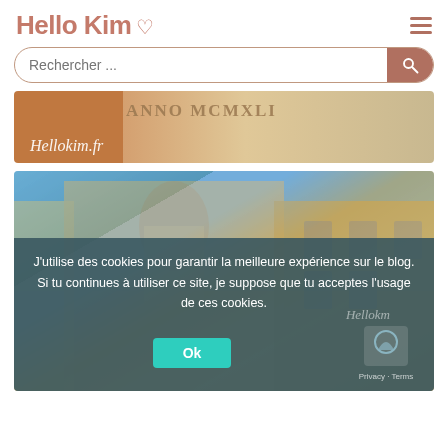Hello Kim ♡
[Figure (screenshot): Search bar with rounded border and pink search button]
[Figure (photo): Stone wall with carved Latin text ANNO MCMXLI, hellokim.fr script logo overlay]
[Figure (photo): Baroque building facade with blue sky, hellokim watermark]
J'utilise des cookies pour garantir la meilleure expérience sur le blog. Si tu continues à utiliser ce site, je suppose que tu acceptes l'usage de ces cookies.
Ok